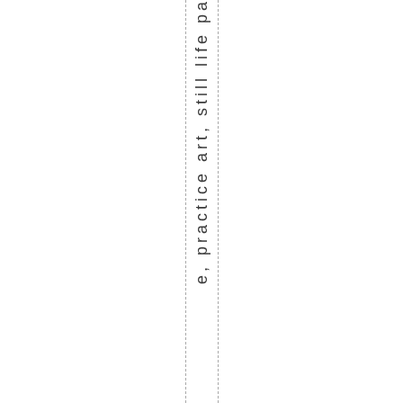e, practice art, still life pai